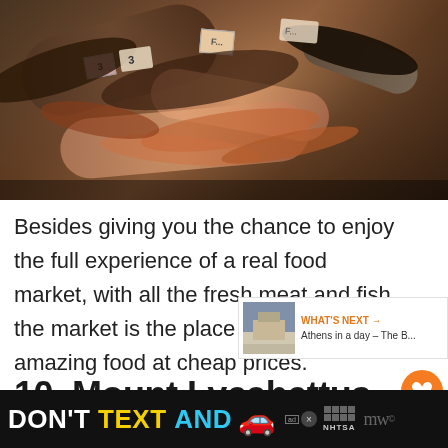[Figure (photo): A fish market display showing various fresh seafood including shrimp and fish on a market counter with price tags visible]
Besides giving you the chance to enjoy the full experience of a real food market, with all the fresh meat and fish, the market is the place to go for amazing food at cheap prices.
10. Mount Lycabettus
[Figure (screenshot): WHAT'S NEXT → Athens in a day – The B... with thumbnail image of Athens]
[Figure (infographic): Advertisement banner: DON'T TEXT AND [car emoji] with NHTSA ad choices logo]